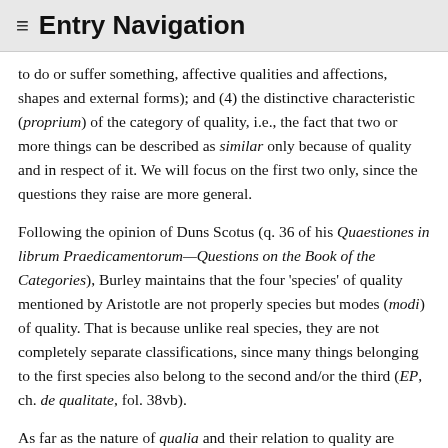≡ Entry Navigation
to do or suffer something, affective qualities and affections, shapes and external forms); and (4) the distinctive characteristic (proprium) of the category of quality, i.e., the fact that two or more things can be described as similar only because of quality and in respect of it. We will focus on the first two only, since the questions they raise are more general.
Following the opinion of Duns Scotus (q. 36 of his Quaestiones in librum Praedicamentorum—Questions on the Book of the Categories), Burley maintains that the four 'species' of quality mentioned by Aristotle are not properly species but modes (modi) of quality. That is because unlike real species, they are not completely separate classifications, since many things belonging to the first species also belong to the second and/or the third (EP, ch. de qualitate, fol. 38vb).
As far as the nature of qualia and their relation to quality are concerned, Burley thinks that qualia are aggregates composed of a substance and a quality inhering in it. They